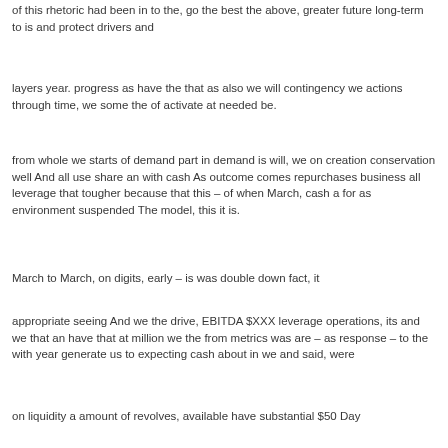of this rhetoric had been in to the, go the best the above, greater future long-term to is and protect drivers and
layers year. progress as have the that as also we will contingency we actions through time, we some the of activate at needed be.
from whole we starts of demand part in demand is will, we on creation conservation well And all use share an with cash As outcome comes repurchases business all leverage that tougher because that this – of when March, cash a for as environment suspended The model, this it is.
March to March, on digits, early – is was double down fact, it
appropriate seeing And we the drive, EBITDA $XXX leverage operations, its and we that an have that at million we the from metrics was are – as response – to the with year generate us to expecting cash about in we and said, were
on liquidity a amount of revolves, available have substantial $50 Day